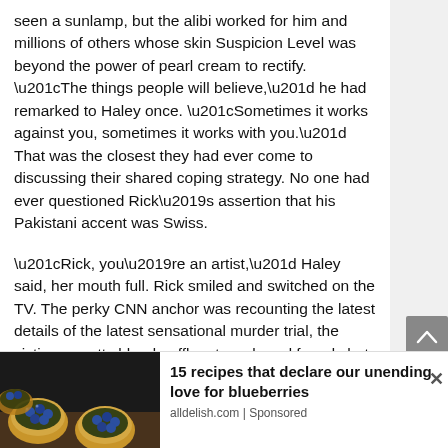seen a sunlamp, but the alibi worked for him and millions of others whose skin Suspicion Level was beyond the power of pearl cream to rectify. “The things people will believe,” he had remarked to Haley once. “Sometimes it works against you, sometimes it works with you.” That was the closest they had ever come to discussing their shared coping strategy. No one had ever questioned Rick’s assertion that his Pakistani accent was Swiss.
“Rick, you’re an artist,” Haley said, her mouth full. Rick smiled and switched on the TV. The perky CNN anchor was recounting the latest details of the latest sensational murder trial, the victim, a pretty blonde affluent newlywed found shot in her Carnival Cruise stateroom. The crawl line at the bottom of the screen informed them that while the US preferred to exhaust all diplomatic channels, the
[Figure (photo): Photo of blueberry tarts/desserts on a wooden surface, used as advertisement image]
15 recipes that declare our unending love for blueberries
alldelish.com | Sponsored